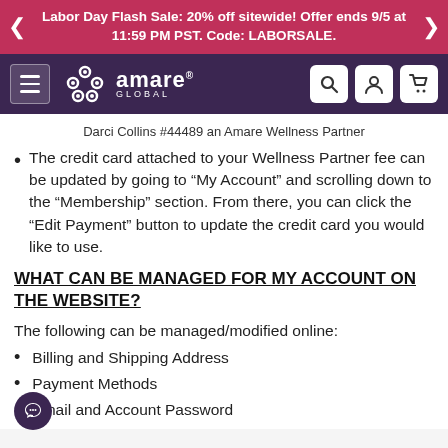Labor Day Flash Sale: 20% off sitewide! Offer ends 9/5 at 11:59 PM PST. Code: LABORSALE.
[Figure (screenshot): Amare Global navigation bar with hamburger menu, logo, search, account, and cart icons]
Darci Collins #44489 an Amare Wellness Partner
The credit card attached to your Wellness Partner fee can be updated by going to “My Account” and scrolling down to the “Membership” section. From there, you can click the “Edit Payment” button to update the credit card you would like to use.
WHAT CAN BE MANAGED FOR MY ACCOUNT ON THE WEBSITE?
The following can be managed/modified online:
Billing and Shipping Address
Payment Methods
Email and Account Password